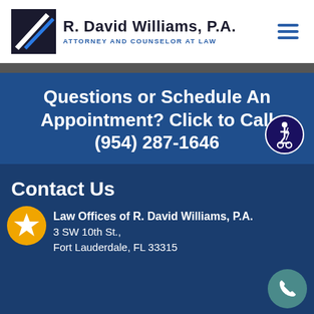R. David Williams, P.A. — Attorney and Counselor at Law
Questions or Schedule An Appointment? Click to Call (954) 287-1646
Contact Us
Law Offices of R. David Williams, P.A.
3 SW 10th St., Fort Lauderdale, FL 33315